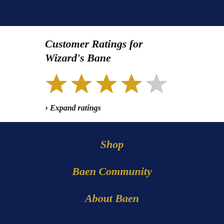Customer Ratings for Wizard's Bane
[Figure (other): 4 out of 5 stars rating display — four gold filled stars and one grey empty star]
› Expand ratings
Shop
Baen Community
About Baen